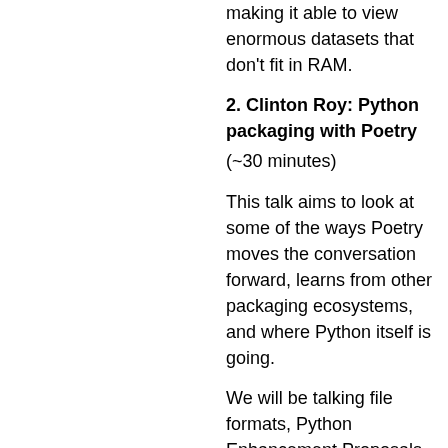making it able to view enormous datasets that don't fit in RAM.
2. Clinton Roy: Python packaging with Poetry
(~30 minutes)
This talk aims to look at some of the ways Poetry moves the conversation forward, learns from other packaging ecosystems, and where Python itself is going.
We will be talking file formats, Python Enhancement Proposals (PEPs) to do with packaging, different packaging ideologies and looking at what we can learn